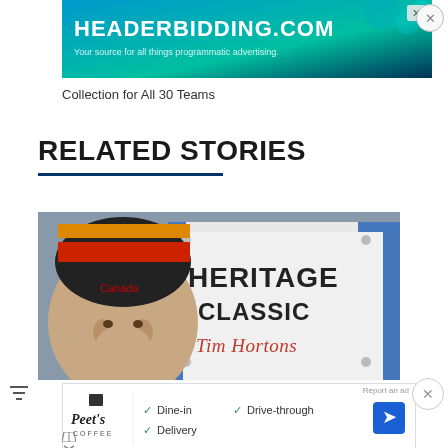[Figure (screenshot): Advertisement banner for headerbidding.com with teal/blue gradient background. Text reads HEADERBIDDING.COM and Your source for all things programmatic advertising.]
Collection for All 30 Teams
RELATED STORIES
[Figure (photo): Photo of a man wearing a Canada toque (red maple leaf winter hat) in front of an NHL Heritage Classic Tim Hortons sign.]
[Figure (screenshot): Advertisement for Peet's Coffee showing Dine-in, Drive-through, and Delivery options with checkmarks and a navigation arrow icon.]